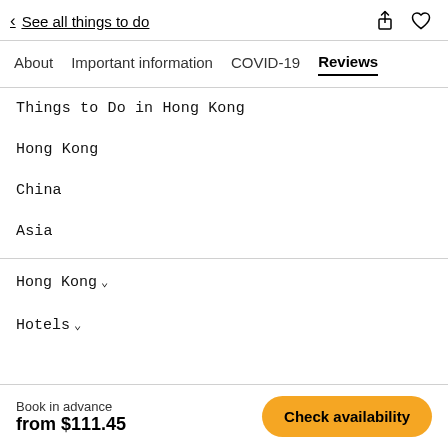< See all things to do
About   Important information   COVID-19   Reviews
Things to Do in Hong Kong
Hong Kong
China
Asia
Hong Kong ∨
Hotels ∨
Book in advance
from $111.45
Check availability